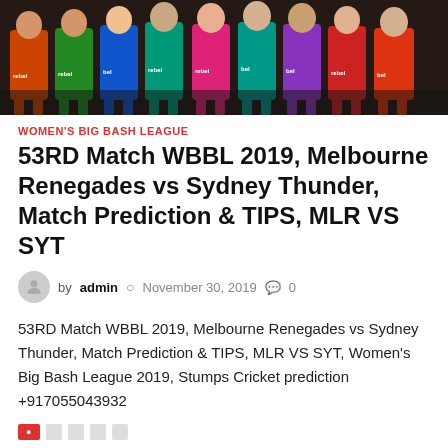[Figure (photo): Group photo of Women's Big Bash League cricket players in their respective team jerseys, standing in a row against a dark background.]
WOMEN'S BIG BASH LEAGUE
53RD Match WBBL 2019, Melbourne Renegades vs Sydney Thunder, Match Prediction & TIPS, MLR VS SYT
by admin  November 30, 2019  0
53RD Match WBBL 2019, Melbourne Renegades vs Sydney Thunder, Match Prediction & TIPS, MLR VS SYT, Women's Big Bash League 2019, Stumps Cricket prediction +917055043932